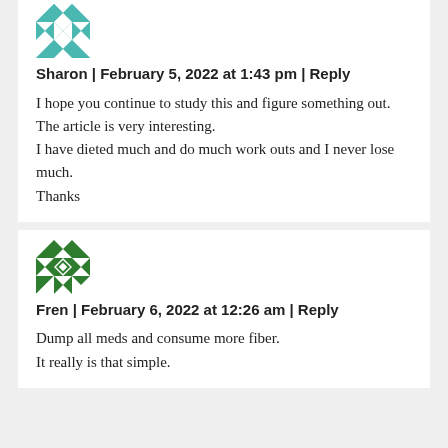[Figure (illustration): Teal/green quilt-pattern avatar for user Sharon]
Sharon | February 5, 2022 at 1:43 pm | Reply
I hope you continue to study this and figure something out.
The article is very interesting.
I have dieted much and do much work outs and I never lose much.
Thanks
[Figure (illustration): Green and white quilt-pattern avatar for user Fren]
Fren | February 6, 2022 at 12:26 am | Reply
Dump all meds and consume more fiber.
It really is that simple.